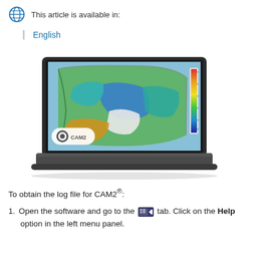This article is available in:
English
[Figure (screenshot): Laptop computer displaying CAM2 software with a colorful 3D scan/measurement visualization of a curved panel part. The software interface shows a color map overlay on a 3D model. A CAM2 logo watermark is visible in the lower left of the screen.]
To obtain the log file for CAM2®:
Open the software and go to the [icon] tab. Click on the Help option in the left menu panel.